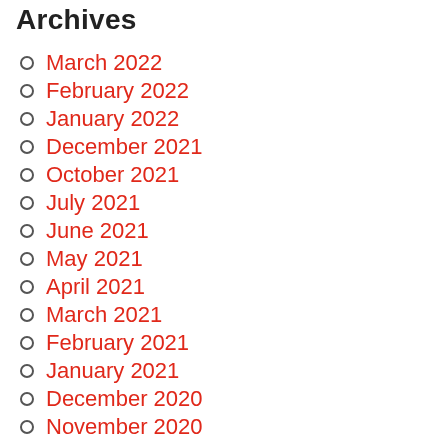Archives
March 2022
February 2022
January 2022
December 2021
October 2021
July 2021
June 2021
May 2021
April 2021
March 2021
February 2021
January 2021
December 2020
November 2020